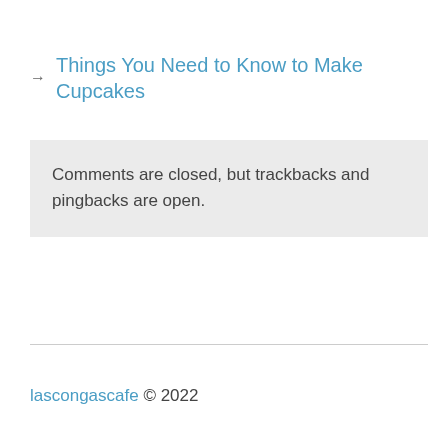→ Things You Need to Know to Make Cupcakes
Comments are closed, but trackbacks and pingbacks are open.
lascongascafe © 2022